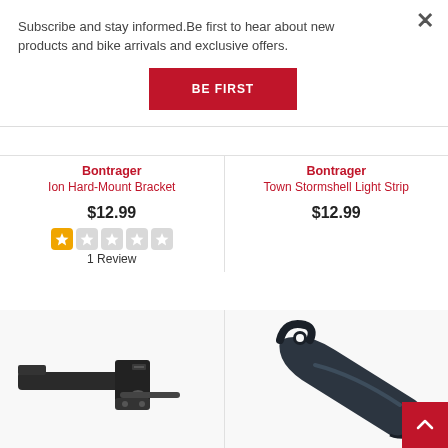Subscribe and stay informed.Be first to hear about new products and bike arrivals and exclusive offers.
BE FIRST
Bontrager
Ion Hard-Mount Bracket
$12.99
1 Review
Bontrager
Town Stormshell Light Strip
$12.99
[Figure (photo): Bontrager Ion Hard-Mount Bracket product photo - black metal bracket hardware]
[Figure (photo): Bontrager Town Stormshell Light Strip product photo - dark plastic clip accessory]